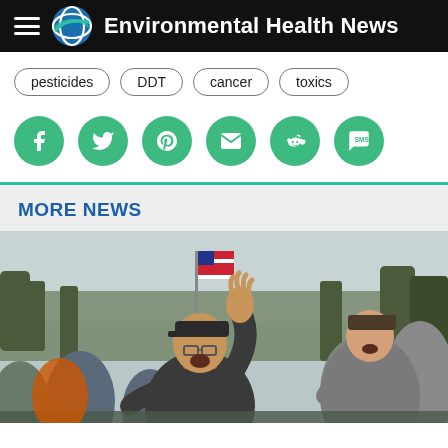Environmental Health News
pesticides
DDT
cancer
toxics
[Figure (infographic): Social sharing buttons: Facebook, Twitter, Pinterest, Email, Reddit, SMS — all green circles with white icons]
MORE NEWS
[Figure (photo): Crowd scene with people cheering outdoors, man in center raising hand with mouth open, American flag visible in background, woman clapping to the right, overcast sky with bare trees]